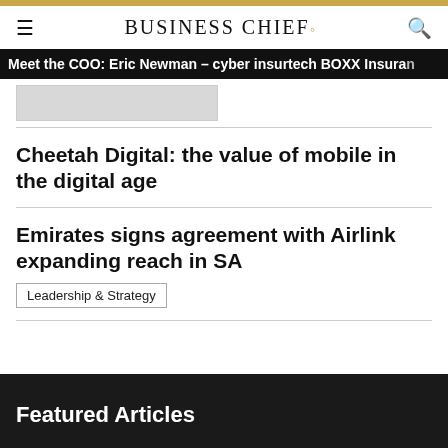BUSINESS CHIEF.
Meet the COO: Eric Newman – cyber insurtech BOXX Insura…
Cheetah Digital: the value of mobile in the digital age
Emirates signs agreement with Airlink expanding reach in SA
Leadership & Strategy
Featured Articles